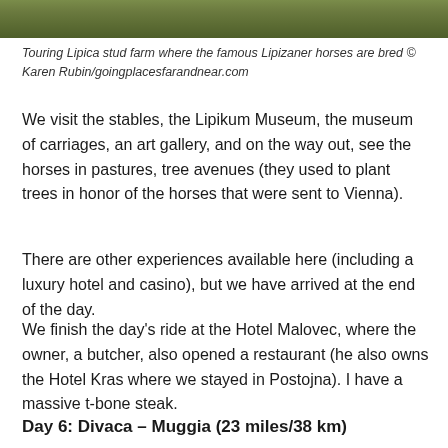[Figure (photo): Green grassy field or meadow, close-up view, top strip of the page]
Touring Lipica stud farm where the famous Lipizaner horses are bred © Karen Rubin/goingplacesfarandnear.com
We visit the stables, the Lipikum Museum, the museum of carriages, an art gallery, and on the way out, see the horses in pastures, tree avenues (they used to plant trees in honor of the horses that were sent to Vienna).
There are other experiences available here (including a luxury hotel and casino), but we have arrived at the end of the day.
We finish the day's ride at the Hotel Malovec, where the owner, a butcher, also opened a restaurant (he also owns the Hotel Kras where we stayed in Postojna). I have a massive t-bone steak.
Day 6: Divaca – Muggia (23 miles/38 km)